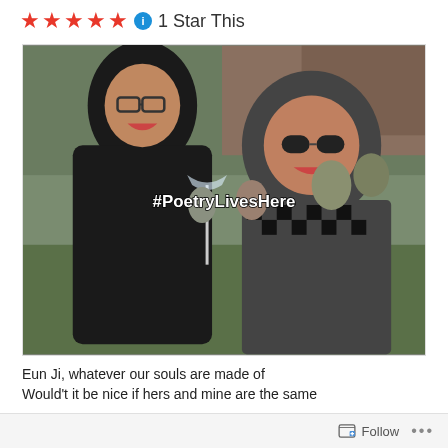[Figure (other): Five red star rating icons followed by a blue info icon and the text '1 Star This']
[Figure (photo): Two young women laughing and smiling at an outdoor party/gathering. The woman on the left wears glasses and a black leather jacket, holding a champagne glass. The woman on the right wears a black and white checkered shirt and sunglasses. Other people are visible in the background on grass. A hashtag watermark '#PoetryLivesHere' appears in the center of the photo.]
Eun Ji, whatever our souls are made of
Would't it be nice if hers and mine are the same
Follow ...